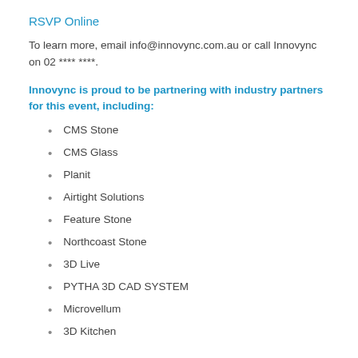RSVP Online
To learn more, email info@innovync.com.au or call Innovync on 02 **** ****.
Innovync is proud to be partnering with industry partners for this event, including:
CMS Stone
CMS Glass
Planit
Airtight Solutions
Feature Stone
Northcoast Stone
3D Live
PYTHA 3D CAD SYSTEM
Microvellum
3D Kitchen